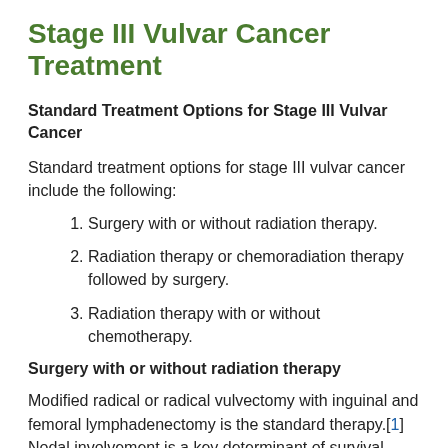Stage III Vulvar Cancer Treatment
Standard Treatment Options for Stage III Vulvar Cancer
Standard treatment options for stage III vulvar cancer include the following:
Surgery with or without radiation therapy.
Radiation therapy or chemoradiation therapy followed by surgery.
Radiation therapy with or without chemotherapy.
Surgery with or without radiation therapy
Modified radical or radical vulvectomy with inguinal and femoral lymphadenectomy is the standard therapy.[1] Nodal involvement is a key determinant of survival. Radiation therapy is given to patients with large primary